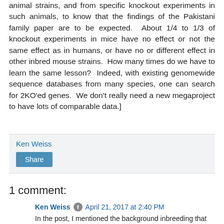animal strains, and from specific knockout experiments in such animals, to know that the findings of the Pakistani family paper are to be expected.  About 1/4 to 1/3 of knockout experiments in mice have no effect or not the same effect as in humans, or have no or different effect in other inbred mouse strains.  How many times do we have to learn the same lesson?  Indeed, with existing genomewide sequence databases from many species, one can search for 2KO'ed genes.  We don't really need a new megaproject to have lots of comparable data.]
Ken Weiss
Share
1 comment:
Ken Weiss
April 21, 2017 at 2:40 PM
In the post, I mentioned the background inbreeding that